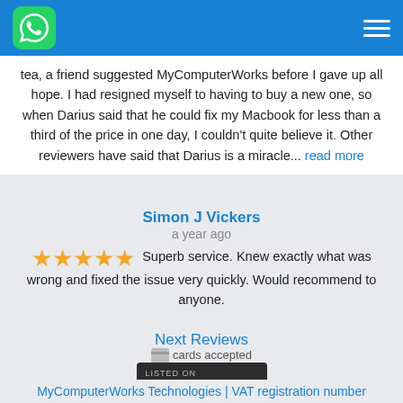[Figure (logo): Blue navigation header bar with WhatsApp green icon on left and hamburger menu on right]
tea, a friend suggested MyComputerWorks before I gave up all hope. I had resigned myself to having to buy a new one, so when Darius said that he could fix my Macbook for less than a third of the price in one day, I couldn't quite believe it. Other reviewers have said that Darius is a miracle... read more
Simon J Vickers
a year ago
★★★★★ Superb service. Knew exactly what was wrong and fixed the issue very quickly. Would recommend to anyone.
Next Reviews
[Figure (illustration): cards accepted image placeholder]
[Figure (logo): Listed on tipped.co.uk badge]
MyComputerWorks Technologies | VAT registration number